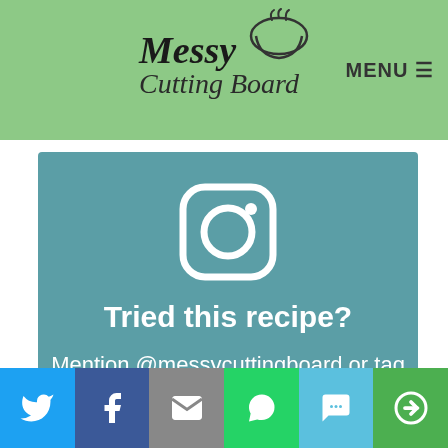Messy Cutting Board — MENU
[Figure (infographic): Teal Instagram promotional card with Instagram icon, bold text 'Tried this recipe?' and text 'Mention @messycuttingboard or tag #MCBrecipebox!']
Privacy & Cookies: This site uses cookies. By continuing to use this website, you agree to their use. To find out more, including how to control cookies, see here: Cookie Policy
[Figure (infographic): Social sharing bar with Twitter, Facebook, Email, WhatsApp, SMS, and More buttons]